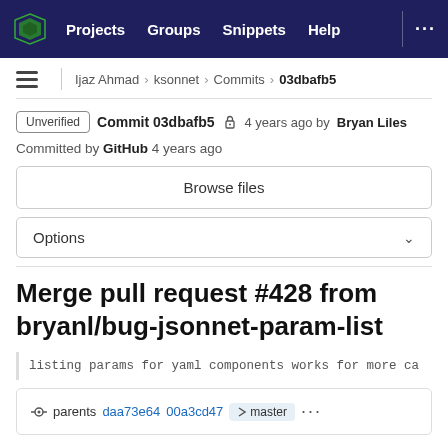Projects  Groups  Snippets  Help  ...
≡  Ijaz Ahmad > ksonnet > Commits > 03dbafb5
Unverified  Commit 03dbafb5  🔒 4 years ago by Bryan Liles
Committed by GitHub 4 years ago
Browse files
Options
Merge pull request #428 from bryanl/bug-jsonnet-param-list
listing params for yaml components works for more ca
parents daa73e64 00a3cd47  master  ...